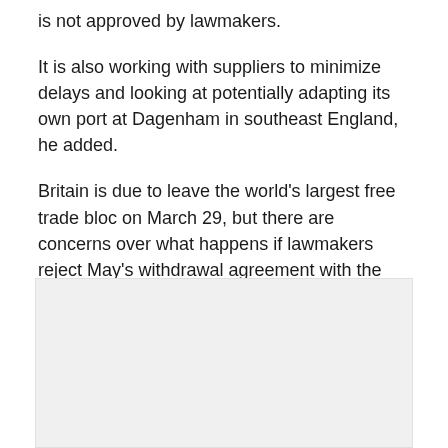is not approved by lawmakers.
It is also working with suppliers to minimize delays and looking at potentially adapting its own port at Dagenham in southeast England, he added.
Britain is due to leave the world's largest free trade bloc on March 29, but there are concerns over what happens if lawmakers reject May's withdrawal agreement with the European Union in a key vote next month, including possible snarl-ups at ports and motorways that would hit trade. Armstrong said May's deal with Brussels "isn't perfect", but allowed the firm to plan.
[Figure (other): Light gray rectangular placeholder image area]